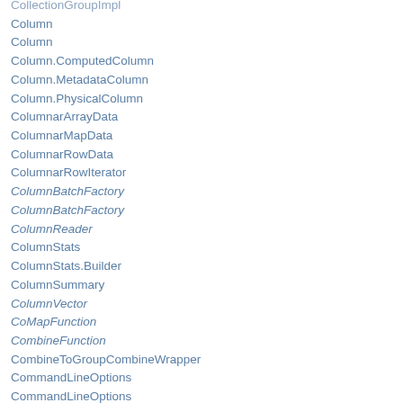CollectionGroupImpl
Column
Column
Column.ComputedColumn
Column.MetadataColumn
Column.PhysicalColumn
ColumnarArrayData
ColumnarMapData
ColumnarRowData
ColumnarRowIterator
ColumnBatchFactory
ColumnBatchFactory
ColumnReader
ColumnStats
ColumnStats.Builder
ColumnSummary
ColumnVector
CoMapFunction
CombineFunction
CombineToGroupCombineWrapper
CommandLineOptions
CommandLineOptions
CommandLineParser
CommandLineWrapper
CommandLineWrapper.SedBuilder
CommandLineWrapper.TarBuilder
CommandLineWrapper.WGetBuilder
CommitRequestImpl
CommitRequestState